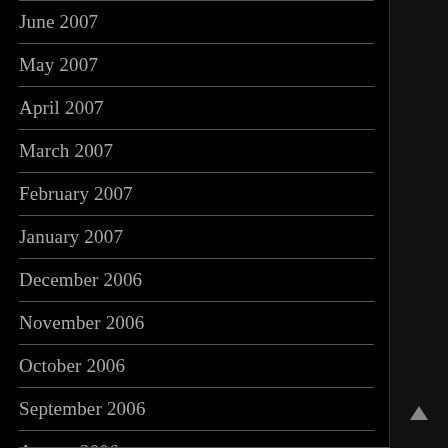June 2007
May 2007
April 2007
March 2007
February 2007
January 2007
December 2006
November 2006
October 2006
September 2006
August 2006
July 2006